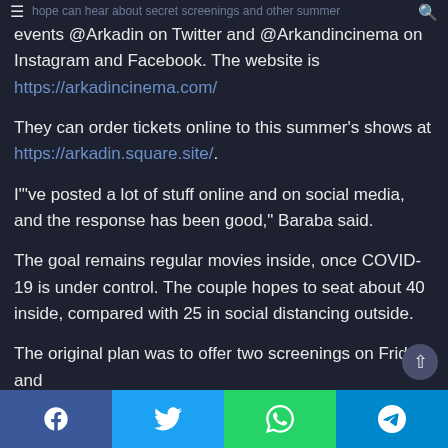hope can hear about secret screenings and other summer events @Arkadin on Twitter and @Arkandincinema on Instagram and Facebook. The website is https://arkadincinema.com/
They can order tickets online to this summer's shows at https://arkadin.square.site/.
I"'ve posted a lot of stuff online and on social media, and the response has been good," Baraba said.
The goal remains regular movies inside, once COVID-19 is under control. The couple hopes to seat about 40 inside, compared with 25 in social distancing outside.
The original plan was to offer two screenings on Friday and